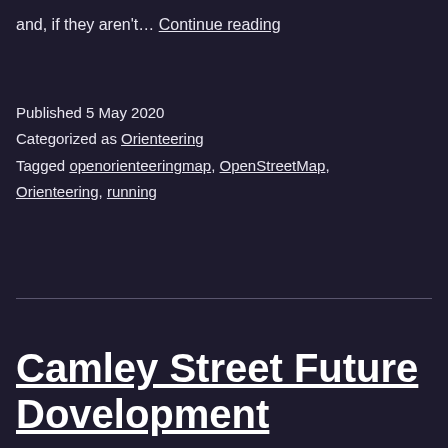and, if they aren't… Continue reading
Published 5 May 2020
Categorized as Orienteering
Tagged openorienteeringmap, OpenStreetMap, Orienteering, running
Camley Street Future Development